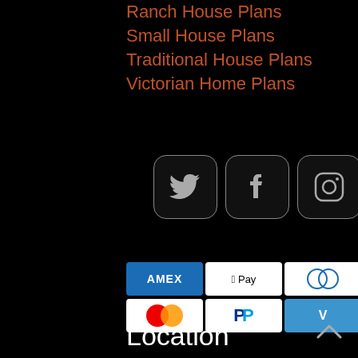Ranch House Plans
Small House Plans
Traditional House Plans
Victorian Home Plans
[Figure (infographic): Three social media icons (Twitter, Facebook, Instagram) in rounded square dark containers with grey borders]
[Figure (infographic): Payment method badges: AMEX, Apple Pay, Diners, Discover, elo, JCB in first row; Mastercard, PayPal, Venmo, VISA in second row]
Location